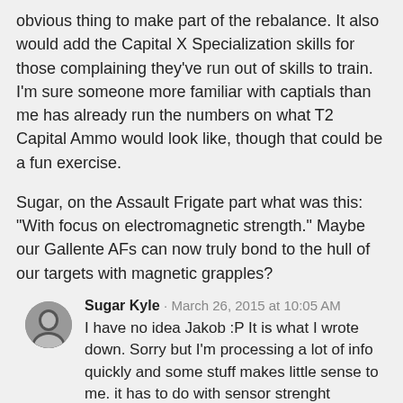obvious thing to make part of the rebalance. It also would add the Capital X Specialization skills for those complaining they've run out of skills to train. I'm sure someone more familiar with captials than me has already run the numbers on what T2 Capital Ammo would look like, though that could be a fun exercise.
Sugar, on the Assault Frigate part what was this: "With focus on electromagnetic strength." Maybe our Gallente AFs can now truly bond to the hull of our targets with magnetic grapples?
Sugar Kyle · March 26, 2015 at 10:05 AM
I have no idea Jakob :P It is what I wrote down. Sorry but I'm processing a lot of info quickly and some stuff makes little sense to me. it has to do with sensor strenght differences between T1 cruisers and Hacs maybe?